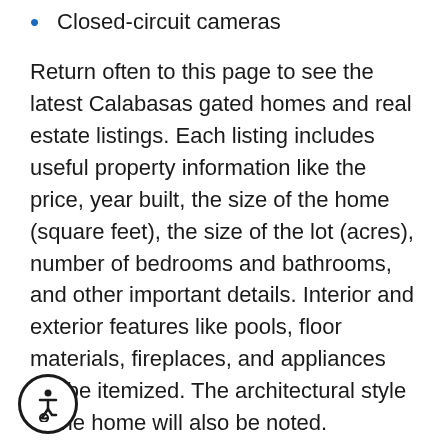Closed-circuit cameras
Return often to this page to see the latest Calabasas gated homes and real estate listings. Each listing includes useful property information like the price, year built, the size of the home (square feet), the size of the lot (acres), number of bedrooms and bathrooms, and other important details. Interior and exterior features like pools, floor materials, fireplaces, and appliances will be itemized. The architectural style of the home will also be noted.
You'll be able to check the number of days the home has been on the market (DOM), its MLS number, and the current MLS listing status (active or pending). If